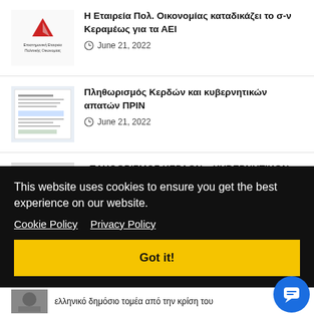Η Εταιρεία Πολ. Οικονομίας καταδικάζει το σ-ν Κεραμέως για τα ΑΕΙ — June 21, 2022
Πληθωρισμός Κερδών και κυβερνητικών απατών ΠΡΙΝ — June 21, 2022
«ΠΛΗΘΩΡΙΣΜΟΣ ΚΕΡΔΩΝ – ΚΥΒΕΡΝΗΤΙΚΩΝ
This website uses cookies to ensure you get the best experience on our website.
Cookie Policy   Privacy Policy
Got it!
ελληνικό δημόσιο τομέα από την κρίση του